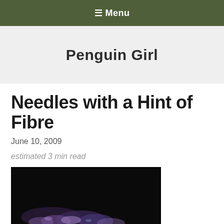≡ Menu
Penguin Girl
Needles with a Hint of Fibre
June 10, 2009
estimated 3 min read
[Figure (photo): A dark photo showing colorful yarn or fibre materials on a dark background]